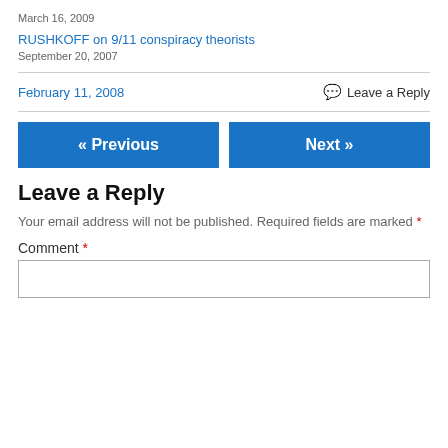March 16, 2009
RUSHKOFF on 9/11 conspiracy theorists
September 20, 2007
February 11, 2008
Leave a Reply
« Previous
Next »
Leave a Reply
Your email address will not be published. Required fields are marked *
Comment *